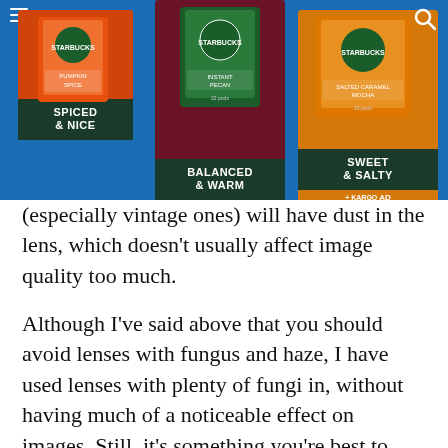[Figure (infographic): Starbucks advertisement banner with three product boxes on blue background. Left box (orange): 'SPICED & NICE', middle box (dark red): 'BALANCED & WARM', right box (orange/gold): 'SWEET & SALTY'. Each box shows a Starbucks K-cup package on top. A KARGO AD tag is visible on the right box. Navigation hamburger icon top left, search icon top right.]
(especially vintage ones) will have dust in the lens, which doesn't usually affect image quality too much.
Although I've said above that you should avoid lenses with fungus and haze, I have used lenses with plenty of fungi in, without having much of a noticeable effect on images. Still, it's something you're best to avoid. If you look at the images of the lenses posted in this article, there are plenty of spots of dust and marks on the lenses I've used, but with no noticeable effect.